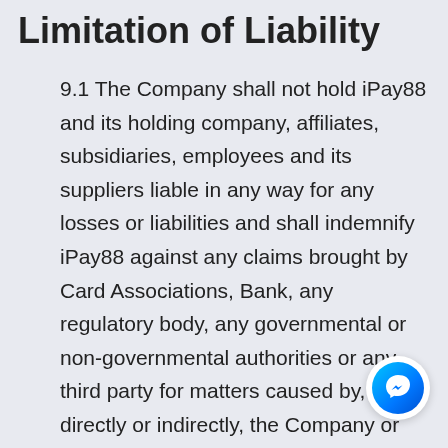Limitation of Liability
9.1 The Company shall not hold iPay88 and its holding company, affiliates, subsidiaries, employees and its suppliers liable in any way for any losses or liabilities and shall indemnify iPay88 against any claims brought by Card Associations, Bank, any regulatory body, any governmental or non-governmental authorities or any third party for matters caused by, directly or indirectly, the Company or any third parties related to the Company in connection with the use of or access to the Service. The Company forthwith reimburse iPay88 for any fin imposed and all costs (legal or otherwise)